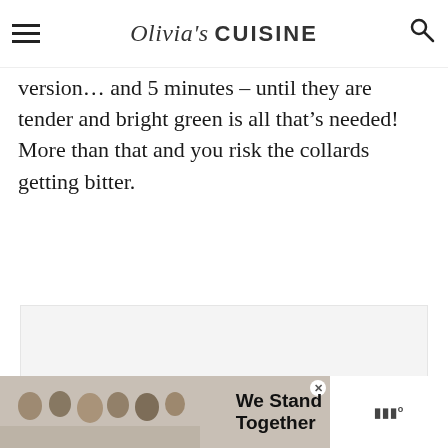Olivia's CUISINE
version ... and 5 minutes – until they are tender and bright green is all that's needed! More than that and you risk the collards getting bitter.
[Figure (photo): Large image area placeholder, light grey background]
[Figure (infographic): Advertisement banner reading 'We Stand Together' with a group of people photo and a close button]